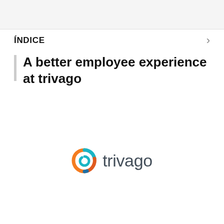ÍNDICE
A better employee experience at trivago
[Figure (logo): trivago logo: circular swirl icon in orange, blue, and teal gradient colors, followed by the word 'trivago' in dark grey sans-serif text]